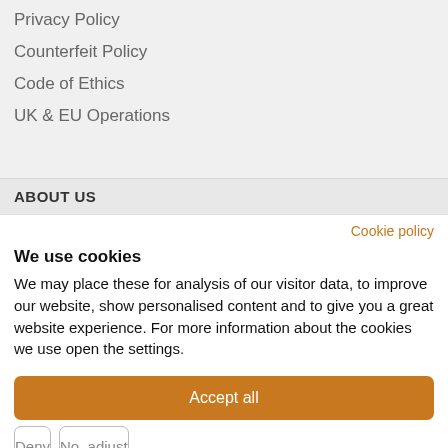Privacy Policy
Counterfeit Policy
Code of Ethics
UK & EU Operations
ABOUT US
Cookie policy
We use cookies
We may place these for analysis of our visitor data, to improve our website, show personalised content and to give you a great website experience. For more information about the cookies we use open the settings.
Accept all
Deny
No, adjust